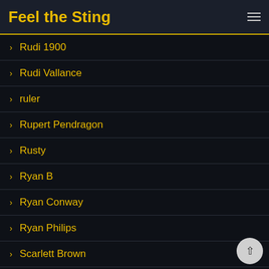Feel the Sting
Rudi 1900
Rudi Vallance
ruler
Rupert Pendragon
Rusty
Ryan B
Ryan Conway
Ryan Philips
Scarlett Brown
school
Scott